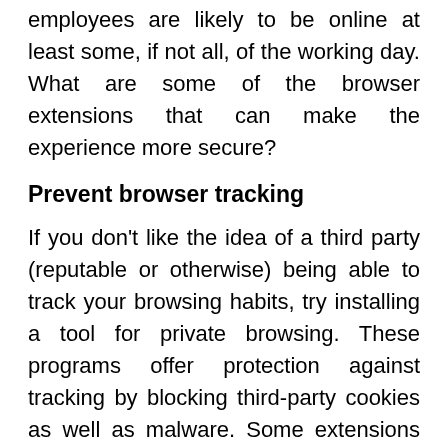employees are likely to be online at least some, if not all, of the working day. What are some of the browser extensions that can make the experience more secure?
Prevent browser tracking
If you don't like the idea of a third party (reputable or otherwise) being able to track your browsing habits, try installing a tool for private browsing. These programs offer protection against tracking by blocking third-party cookies as well as malware. Some extensions also boast secure Wi-Fi and bandwidth optimization